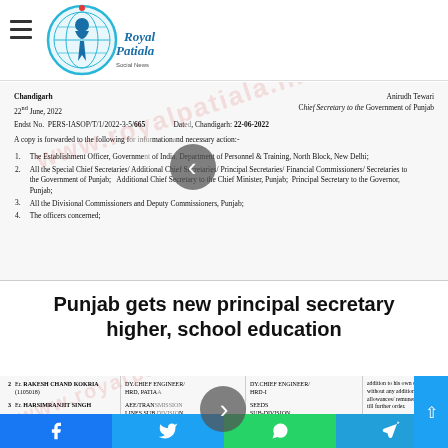Royal Patiala – website header with logo and hamburger menu
[Figure (screenshot): Scanned government letter from Chandigarh dated 22nd June, 2022, signed by Anirudh Tewari, Chief Secretary to the Government of Punjab. Contains Endst No. PERS-IASOP/T/1/2022-3-5/665, dated Chandigarh: 22-06-2022. Lists forwarding instructions to: 1. The Establishment Officer, Government of India, Department of Personnel & Training, North Block, New Delhi; 2. All the Special Chief Secretaries/Additional Chief Secretaries/Principal Secretaries/Financial Commissioners/Secretaries to the Government of Punjab; Additional Chief Secretary to the Chief Minister, Punjab; Principal Secretary to the Governor, Punjab; 3. All the Divisional Commissioners and Deputy Commissioners, Punjab; 4. The officers concerned;]
Punjab gets new principal secretary higher, school education
[Figure (screenshot): Scanned government table/order showing officers including: 2. Er. RAKESH CHAND KOKRIA (1105018) as DY.CHIEF ENGINEER/ HRD, PATIA.. and DY.CHIEF ENGINEER/ HRD-I; 3. Er. HARSIMRANJIT SINGH as AEE/TRANSMISSION LINES SUB DIVISION.. SEEDS SUB-DIVISION. Right column mentions: addition to his own duties without any additional pay/allowances/remuneration etc. till further order. Against a Vacant Post. Due to restructuring. Against a Vacant Post.]